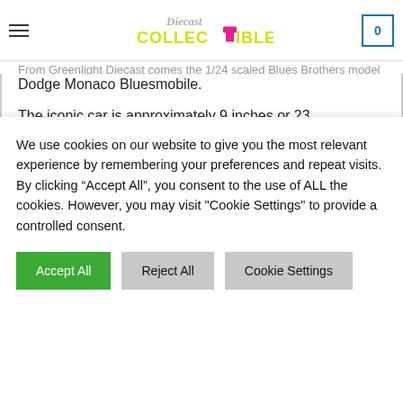Diecast Collectibles — navigation bar with hamburger menu, logo, and cart (0)
From Greenlight Diecast comes the 1/24 scaled Blues Brothers model 1974 Dodge Monaco Bluesmobile.
The iconic car is approximately 9 inches or 23 centimetres long and stands 4.5 inches / 11.5 centimetres tall. The drivers & passenger doors open. It comes packaged in a window box.
Figure Highlights
We use cookies on our website to give you the most relevant experience by remembering your preferences and repeat visits. By clicking “Accept All”, you consent to the use of ALL the cookies. However, you may visit "Cookie Settings" to provide a controlled consent.